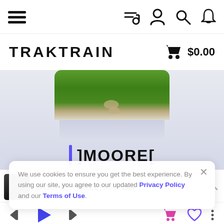Navigation bar with menu, playlist, user, search, and notification icons
TRAKTRAIN $0.00
[Figure (photo): Album art showing a grass path with stepping stones and a reflection below, with artist name ]MOORE[ displayed below with a purple bar accent]
We use cookies to ensure you get the best experience. By using our site, you agree to our updated Privacy Policy and our Terms of Use.
]MOORE[ – (FREE) Mike Din
Music player controls: skip back, play, skip forward, cart, heart, more options